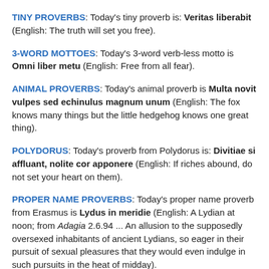TINY PROVERBS: Today's tiny proverb is: Veritas liberabit (English: The truth will set you free).
3-WORD MOTTOES: Today's 3-word verb-less motto is Omni liber metu (English: Free from all fear).
ANIMAL PROVERBS: Today's animal proverb is Multa novit vulpes sed echinulus magnum unum (English: The fox knows many things but the little hedgehog knows one great thing).
POLYDORUS: Today's proverb from Polydorus is: Divitiae si affluant, nolite cor apponere (English: If riches abound, do not set your heart on them).
PROPER NAME PROVERBS: Today's proper name proverb from Erasmus is Lydus in meridie (English: A Lydian at noon; from Adagia 2.6.94 ... An allusion to the supposedly oversexed inhabitants of ancient Lydians, so eager in their pursuit of sexual pleasures that they would even indulge in such pursuits in the heat of midday).